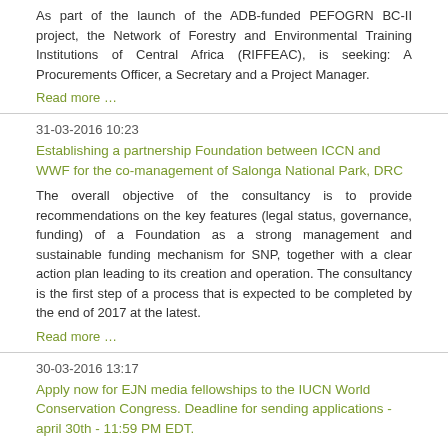As part of the launch of the ADB-funded PEFOGRN BC-II project, the Network of Forestry and Environmental Training Institutions of Central Africa (RIFFEAC), is seeking: A Procurements Officer, a Secretary and a Project Manager.
Read more …
31-03-2016 10:23
Establishing a partnership Foundation between ICCN and WWF for the co-management of Salonga National Park, DRC
The overall objective of the consultancy is to provide recommendations on the key features (legal status, governance, funding) of a Foundation as a strong management and sustainable funding mechanism for SNP, together with a clear action plan leading to its creation and operation. The consultancy is the first step of a process that is expected to be completed by the end of 2017 at the latest.
Read more …
30-03-2016 13:17
Apply now for EJN media fellowships to the IUCN World Conservation Congress. Deadline for sending applications - april 30th - 11:59 PM EDT.
Journalists are invited to apply to join a fellowship programme on biodiversity and conservation, at the IUCN World Conservation Congress in Hawai'i in September.
Read more …
29-03-2016 11:01
RAPAC-TOR for services provided: relevance and feasibility study on a "cheque-service" system for the protected areas of Central Africa.
The overall aim of the service is to assess the relevance and feasibility of a